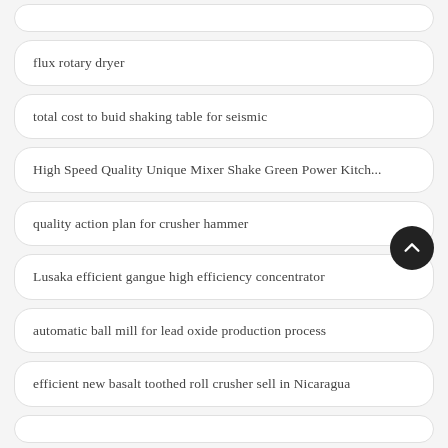flux rotary dryer
total cost to buid shaking table for seismic
High Speed Quality Unique Mixer Shake Green Power Kitch...
quality action plan for crusher hammer
Lusaka efficient gangue high efficiency concentrator
automatic ball mill for lead oxide production process
efficient new basalt toothed roll crusher sell in Nicaragua